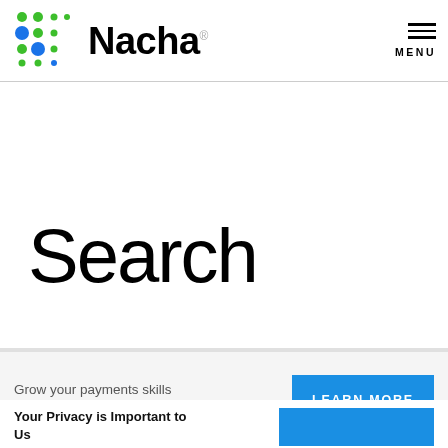[Figure (logo): Nacha logo with green and blue dot grid pattern and the word Nacha in bold black text]
MENU
Search
Grow your payments skills virtually at TPI Home School,
LEARN MORE
Your Privacy is Important to Us